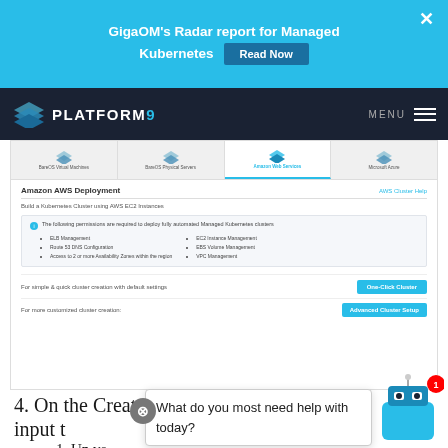[Figure (screenshot): GigaOM Radar report for Managed Kubernetes ad banner with 'Read Now' button and close X]
[Figure (screenshot): Platform9 navigation bar with logo and MENU hamburger]
[Figure (screenshot): Platform9 Amazon AWS Deployment UI showing tabs (BareOS Virtual Machines, BareOS Physical Servers, Amazon Web Services selected, Microsoft Azure), info box with required permissions, and One-Click Cluster / Advanced Cluster Setup buttons]
4. On the Create a Custom Cluster screen, input t
1. Un ve your cluster a meaningful name
What do you most need help with today?